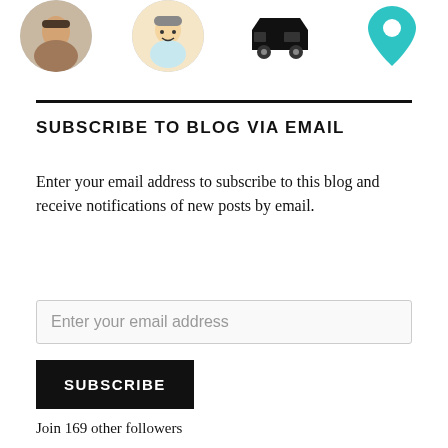[Figure (illustration): Four small circular/icon images at the top of the page: two circular avatar photos on the left side and two icon images on the right side (a black silhouette icon and a teal/blue map pin icon).]
SUBSCRIBE TO BLOG VIA EMAIL
Enter your email address to subscribe to this blog and receive notifications of new posts by email.
Enter your email address
SUBSCRIBE
Join 169 other followers